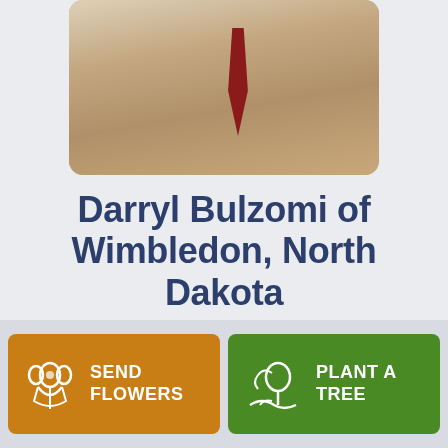[Figure (photo): Portrait photo of a man in a white shirt with red tie, partially visible from chest up]
Darryl Bulzomi of Wimbledon, North Dakota
September 1, 1938 — September 17, 2017
Share
SEND FLOWERS
PLANT A TREE